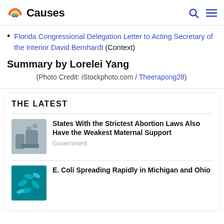Causes
Florida Congressional Delegation Letter to Acting Secretary of the Interior David Bernhardt (Context)
Summary by Lorelei Yang
(Photo Credit: iStockphoto.com / Theerapong28)
THE LATEST
States With the Strictest Abortion Laws Also Have the Weakest Maternal Support
Government
E. Coli Spreading Rapidly in Michigan and Ohio